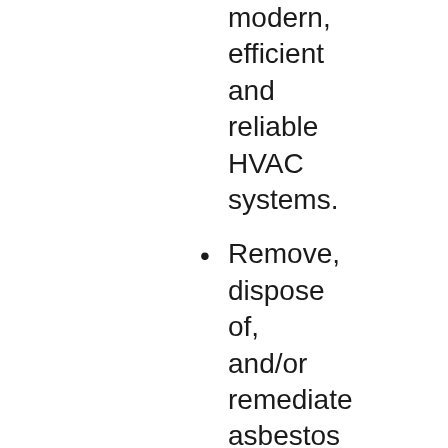modern, efficient and reliable HVAC systems.
Remove, dispose of, and/or remediate asbestos and any other hazardous materials in gymnasium, including replacing